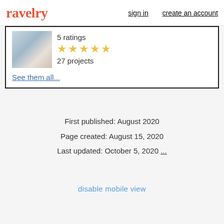ravelry  sign in  create an account
5 ratings
[Figure (other): Five gold star rating icons]
27 projects
See them all...
First published: August 2020
Page created: August 15, 2020
Last updated: October 5, 2020 ...
disable mobile view